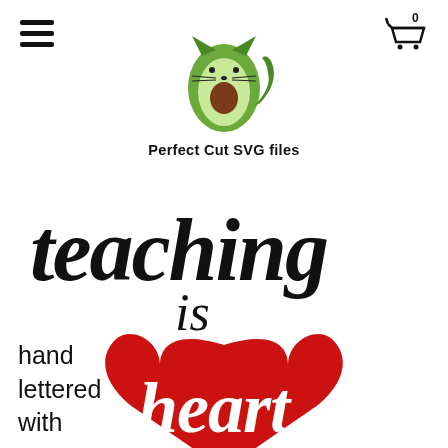[Figure (logo): Avocado cat logo illustration with text 'Perfect Cut SVG files' below it]
[Figure (illustration): Hand-lettered SVG product preview showing 'teaching is heart' with a large red heart shape. Text 'hand lettered with' in bottom left.]